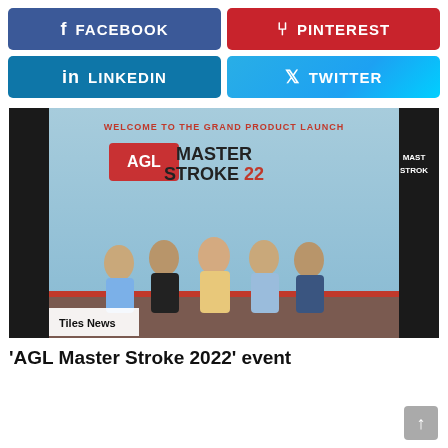[Figure (infographic): Social media share buttons: Facebook (dark blue), Pinterest (red), LinkedIn (blue), Twitter (light blue gradient)]
[Figure (photo): Five men in formal attire standing on stage at AGL Master Stroke 22 Grand Product Launch event. Banner in background reads 'Welcome to the Grand Product Launch AGL Master Stroke 22'. Tag 'Tiles News' visible at bottom left.]
'AGL Master Stroke 2022' event